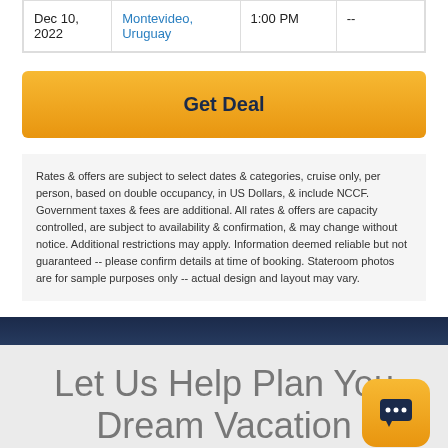| Date | Location | Arrival | Departure |
| --- | --- | --- | --- |
| Dec 10, 2022 | Montevideo, Uruguay | 1:00 PM | -- |
Get Deal
Rates & offers are subject to select dates & categories, cruise only, per person, based on double occupancy, in US Dollars, & include NCCF. Government taxes & fees are additional. All rates & offers are capacity controlled, are subject to availability & confirmation, & may change without notice. Additional restrictions may apply. Information deemed reliable but not guaranteed -- please confirm details at time of booking. Stateroom photos are for sample purposes only -- actual design and layout may vary.
Let Us Help Plan Your Dream Vacation